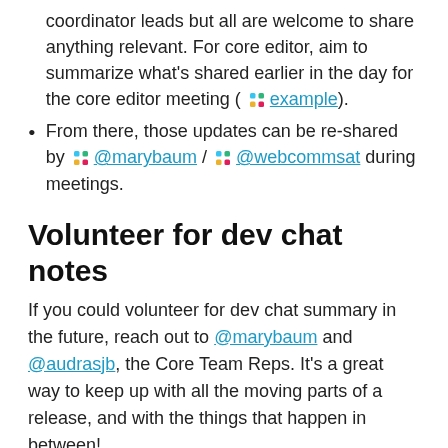coordinator leads but all are welcome to share anything relevant. For core editor, aim to summarize what's shared earlier in the day for the core editor meeting (example).
From there, those updates can be re-shared by @marybaum / @webcommsat during meetings.
Volunteer for dev chat notes
If you could volunteer for dev chat summary in the future, reach out to @marybaum and @audrasjb, the Core Team Reps. It's a great way to keep up with all the moving parts of a release, and with the things that happen in between!
Props to: @marybaum for the agenda and leading the meeting, and to @webcommsat for co-facilitating